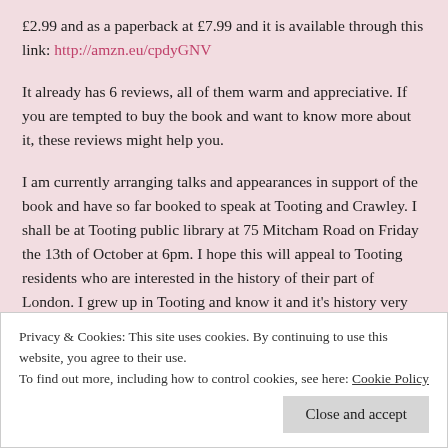£2.99 and as a paperback at £7.99 and it is available through this link: http://amzn.eu/cpdyGNV
It already has 6 reviews, all of them warm and appreciative. If you are tempted to buy the book and want to know more about it, these reviews might help you.
I am currently arranging talks and appearances in support of the book and have so far booked to speak at Tooting and Crawley. I shall be at Tooting public library at 75 Mitcham Road on Friday the 13th of October at 6pm. I hope this will appeal to Tooting residents who are interested in the history of their part of London. I grew up in Tooting and know it and it's history very well indeed. The following day, I shall be at the Crawley library in Southgate Avenue from 11am – 2pm at the local authors book fair. I'll keep you posted about other events as and when they are arranged.
Privacy & Cookies: This site uses cookies. By continuing to use this website, you agree to their use. To find out more, including how to control cookies, see here: Cookie Policy
Close and accept